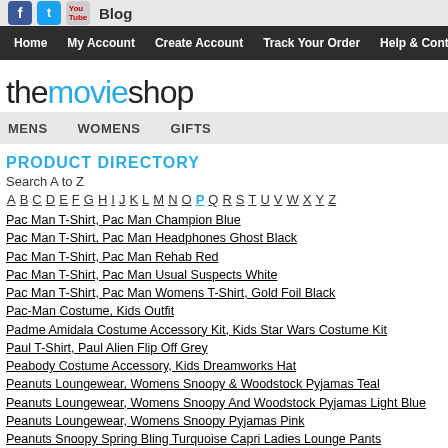Blog
Home | My Account | Create Account | Track Your Order | Help & Contact | Change C
themovieshop
MENS | WOMENS | GIFTS
PRODUCT DIRECTORY
Search A to Z
A B C D E F G H I J K L M N O P Q R S T U V W X Y Z
Pac Man T-Shirt, Pac Man Champion Blue
Pac Man T-Shirt, Pac Man Headphones Ghost Black
Pac Man T-Shirt, Pac Man Rehab Red
Pac Man T-Shirt, Pac Man Usual Suspects White
Pac Man T-Shirt, Pac Man Womens T-Shirt, Gold Foil Black
Pac-Man Costume, Kids Outfit
Padme Amidala Costume Accessory Kit, Kids Star Wars Costume Kit
Paul T-Shirt, Paul Alien Flip Off Grey
Peabody Costume Accessory, Kids Dreamworks Hat
Peanuts Loungewear, Womens Snoopy & Woodstock Pyjamas Teal
Peanuts Loungewear, Womens Snoopy And Woodstock Pyjamas Light Blue
Peanuts Loungewear, Womens Snoopy Pyjamas Pink
Peanuts Snoopy Spring Bling Turquoise Capri Ladies Lounge Pants